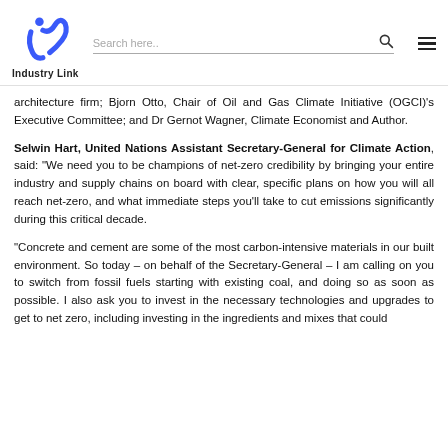Industry Link | Search here..
architecture firm; Bjorn Otto, Chair of Oil and Gas Climate Initiative (OGCI)'s Executive Committee; and Dr Gernot Wagner, Climate Economist and Author.
Selwin Hart, United Nations Assistant Secretary-General for Climate Action, said: “We need you to be champions of net-zero credibility by bringing your entire industry and supply chains on board with clear, specific plans on how you will all reach net-zero, and what immediate steps you’ll take to cut emissions significantly during this critical decade.
“Concrete and cement are some of the most carbon-intensive materials in our built environment. So today – on behalf of the Secretary-General – I am calling on you to switch from fossil fuels starting with existing coal, and doing so as soon as possible. I also ask you to invest in the necessary technologies and upgrades to get to net zero, including investing in the ingredients and mixes that could